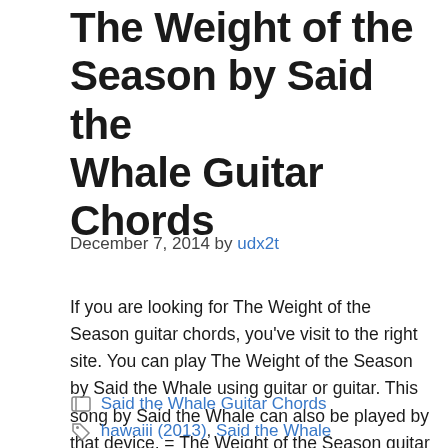The Weight of the Season by Said the Whale Guitar Chords
December 7, 2014 by udx2t
If you are looking for The Weight of the Season guitar chords, you've visit to the right site. You can play The Weight of the Season by Said the Whale using guitar or guitar. This song by Said the Whale can also be played by that device. = The Weight of the Season guitar chords … Read more
Said the Whale Guitar Chords
hawaiii (2013), Said the Whale